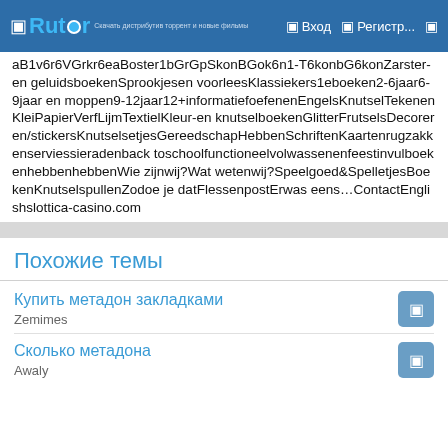Rutor | Вход | Регистр...
aB1v6r6VGrkr6eaBoster1bGrGpSkonBGok6n1-T6konbG6konZarster-en geluidsboekenSprookjesen voorleesKlassiekers1eboeken2-6jaar6-9jaar en moppen9-12jaar12+informatiefoefenenEngelsKnutselTekenenKleiPapierVerfLijmTextielKleur-en knutselboekenGlitterFrutselsDecoreren/stickersKnutselsetjesGereedschapHebbenSchriftenKaartenrugzakkenserviessieradenback toschoolfunctioneelvolwassenenfeestinvulboekenhebbenhebbenWie zijnwij?Wat wetenwij?Speelgoed&SpelletjesBoekenKnutselspullenZodoe je datFlessenpostErwas eens…ContactEnglishslottica-casino.com
Похожие темы
Купить метадон закладками
Zemimes
Сколько метадона
Awaly